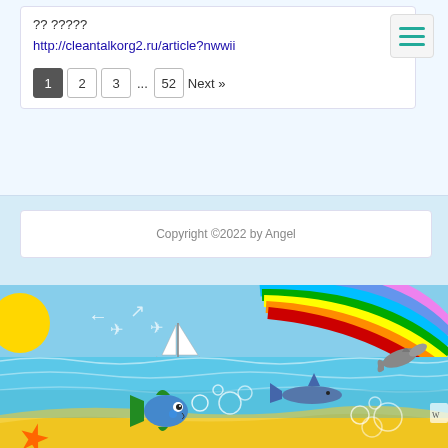?? ?????
http://cleantalkorg2.ru/article?nwwii
1  2  3  ...  52  Next »
Copyright ©2022 by Angel
[Figure (illustration): Colorful ocean scene illustration with sky, rainbow, sun, sailboat, seagulls, dolphins, fish, shark, starfish, bubbles, and sandy beach.]